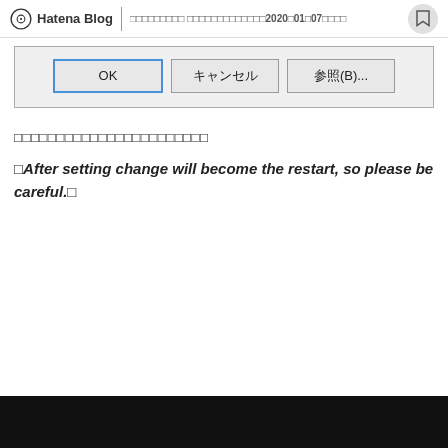Hatena Blog ｜ □□□□□□□□□ □□□□□□□□□□□□□2020□01□07□□□□
[Figure (screenshot): Windows dialog box showing three buttons: OK (highlighted with blue border), キャンセル (Cancel), and 参照(B)... (Browse), on a light gray background]
□□□□□□□□□□□□□□□□□□□□□□□
「After setting change will become the restart, so please be careful.」